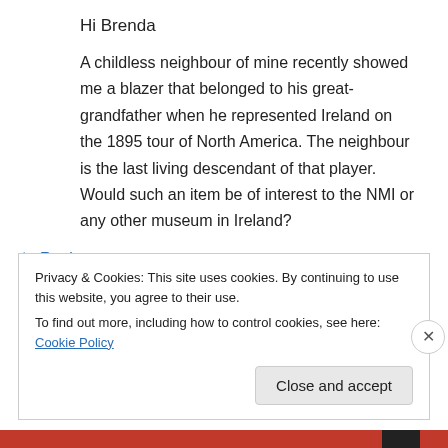Hi Brenda
A childless neighbour of mine recently showed me a blazer that belonged to his great-grandfather when he represented Ireland on the 1895 tour of North America. The neighbour is the last living descendant of that player. Would such an item be of interest to the NMI or any other museum in Ireland?
↳ Reply
Privacy & Cookies: This site uses cookies. By continuing to use this website, you agree to their use.
To find out more, including how to control cookies, see here: Cookie Policy
Close and accept